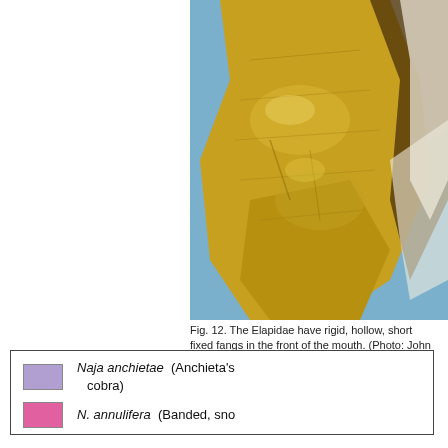[Figure (photo): Close-up macro photograph of Elapidae snake head showing rigid, hollow, short fixed fangs in the front of the mouth. The fang is yellowish-gold in color with textured scales visible, and a white/cream background with dark areas.]
Fig. 12. The Elapidae have rigid, hollow, short fixed fangs in the front of the mouth. (Photo: John Visser.)
[Figure (illustration): Legend box showing two species entries: Naja anchietae (Anchieta's cobra) with a purple/lavender color swatch, and N. annulifera (Banded snouted cobra) with a pink/magenta color swatch.]